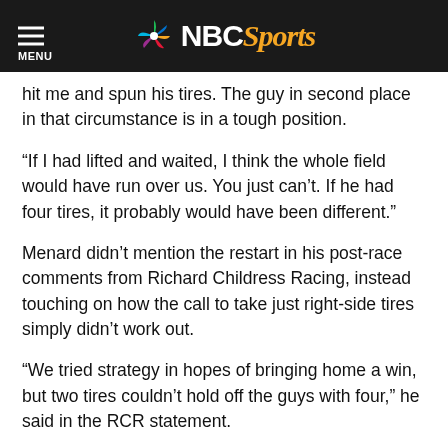NBC Sports
hit me and spun his tires. The guy in second place in that circumstance is in a tough position.
“If I had lifted and waited, I think the whole field would have run over us. You just can’t. If he had four tires, it probably would have been different.”
Menard didn’t mention the restart in his post-race comments from Richard Childress Racing, instead touching on how the call to take just right-side tires simply didn’t work out.
“We tried strategy in hopes of bringing home a win, but two tires couldn’t hold off the guys with four,” he said in the RCR statement.
However, that didn’t stop Menard’s crew chief, Richard “Slugger” Labbe, from venting on Twitter about the situation.